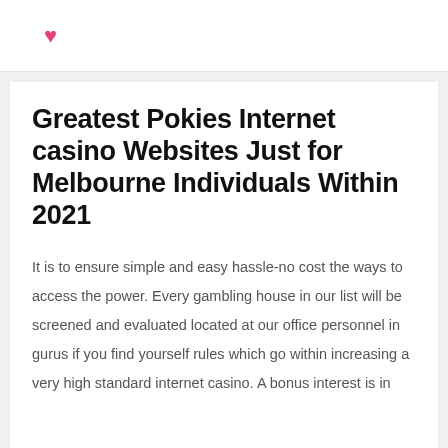♥
Greatest Pokies Internet casino Websites Just for Melbourne Individuals Within 2021
It is to ensure simple and easy hassle-no cost the ways to access the power. Every gambling house in our list will be screened and evaluated located at our office personnel in gurus if you find yourself rules which go within increasing a very high standard internet casino. A bonus interest is in